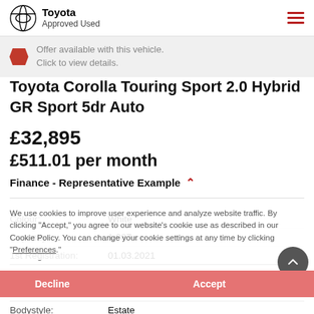Toyota Approved Used
Offer available with this vehicle. Click to view details.
Toyota Corolla Touring Sport 2.0 Hybrid GR Sport 5dr Auto
£32,895
£511.01 per month
Finance - Representative Example
| Attribute | Value |
| --- | --- |
| Colour: | White |
| Capacity: | 1,987 cc |
| 1st Registration: | 01.03.2021 |
| Power: | 184 bhp |
| Mileage: | 11,529 miles |
| Bodystyle: | Estate |
| Transmission: | Automatic |